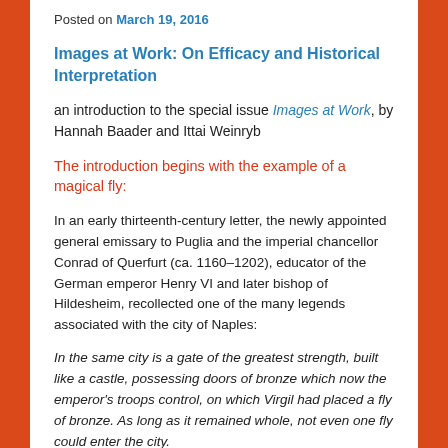Posted on March 19, 2016
Images at Work: On Efficacy and Historical Interpretation
an introduction to the special issue Images at Work, by Hannah Baader and Ittai Weinryb
The introduction begins with the example of a magical fly:
In an early thirteenth-century letter, the newly appointed general emissary to Puglia and the imperial chancellor Conrad of Querfurt (ca. 1160–1202), educator of the German emperor Henry VI and later bishop of Hildesheim, recollected one of the many legends associated with the city of Naples:
In the same city is a gate of the greatest strength, built like a castle, possessing doors of bronze which now the emperor's troops control, on which Virgil had placed a fly of bronze. As long as it remained whole, not even one fly could enter the city.